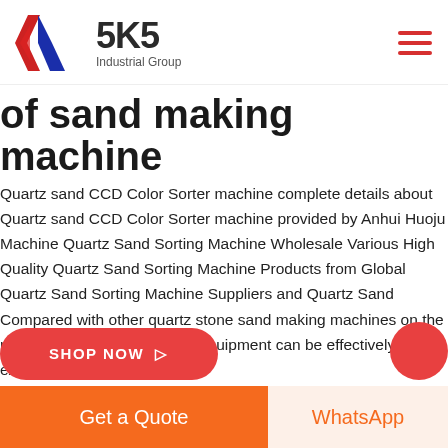[Figure (logo): SKS Industrial Group logo with red and blue K shape and bold SKS text]
of sand making machine
Quartz sand CCD Color Sorter machine complete details about Quartz sand CCD Color Sorter machine provided by Anhui Huoju Machine Quartz Sand Sorting Machine Wholesale Various High Quality Quartz Sand Sorting Machine Products from Global Quartz Sand Sorting Machine Suppliers and Quartz Sand Compared with other quartz stone sand making machines on the market the service life of our equipment can be effectively extended by 3 5 tim
SHOP NOW →
Get a Quote
WhatsApp